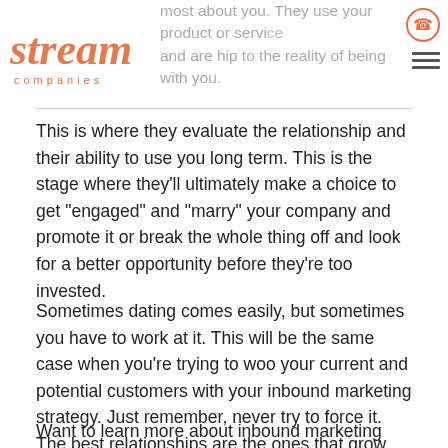most about you. They use your product or service and are hip to the reality of being with you.
This is where they evaluate the relationship and their ability to use you long term. This is the stage where they’ll ultimately make a choice to get “engaged” and “marry” your company and promote it or break the whole thing off and look for a better opportunity before they’re too invested.
Sometimes dating comes easily, but sometimes you have to work at it. This will be the same case when you’re trying to woo your current and potential customers with your inbound marketing strategy. Just remember, never try to force it. The best relationships are the ones that grow organically,
Want to learn more about inbound marketing and